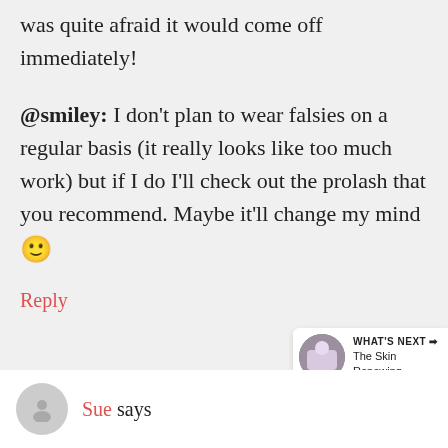was quite afraid it would come off immediately!
@smiley: I don't plan to wear falsies on a regular basis (it really looks like too much work) but if I do I'll check out the prolash that you recommend. Maybe it'll change my mind 🙂
Reply
[Figure (infographic): Heart/like button (dark circle), count '1', and share button (light circle with share icon) on the right side]
WHAT'S NEXT → The Skin Renewing...
Sue says